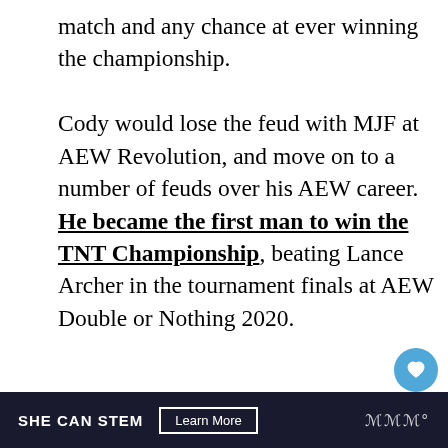match and any chance at ever winning the championship.

Cody would lose the feud with MJF at AEW Revolution, and move on to a number of feuds over his AEW career. He became the first man to win the TNT Championship, beating Lance Archer in the tournament finals at AEW Double or Nothing 2020.
[Figure (screenshot): AEW video thumbnail showing 'CODY HAS HEARD ENOUGH O...' with AEW Wrestling logo and a person on stage. A 'WHAT'S NEXT' panel on the right shows 'What happened to...']
SHE CAN STEM  Learn More